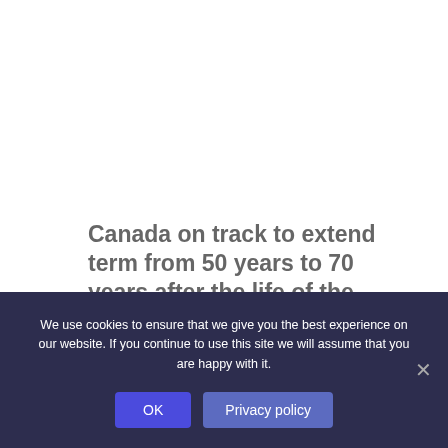Canada on track to extend term from 50 years to 70 years after the life of the author
Jun 29, 2022
We use cookies to ensure that we give you the best experience on our website. If you continue to use this site we will assume that you are happy with it.